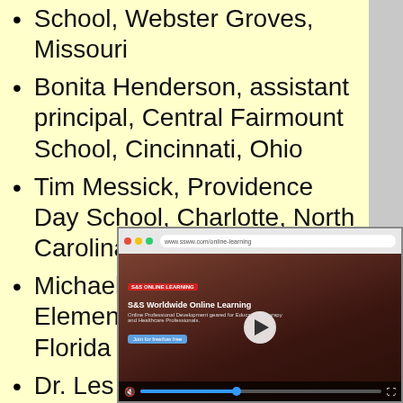School, Webster Groves, Missouri
Bonita Henderson, assistant principal, Central Fairmount School, Cincinnati, Ohio
Tim Messick, Providence Day School, Charlotte, North Carolina
Michael D. Miller, Saturn Elementary School, Cocoa, Florida
Dr. Les Potter, Silver Sands Middle School, Port Orange, Florida
Dr. Ann S[...], Magnet A[...], Georgia
Kenneth [...], Wellington [...], Ohio
[Figure (screenshot): Screenshot of S&S Worldwide Online Learning website with video player showing a video titled 'S&S Worldwide Online Learning' with browser chrome visible at top and video playback controls at bottom.]